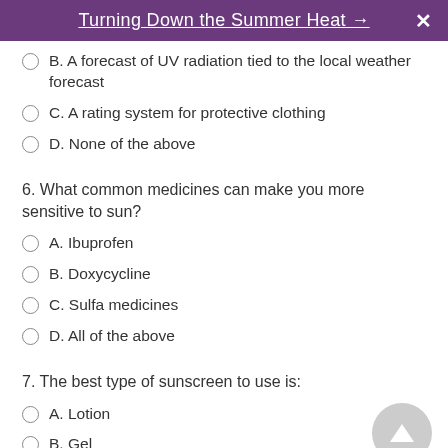Turning Down the Summer Heat →
B. A forecast of UV radiation tied to the local weather forecast
C. A rating system for protective clothing
D. None of the above
6. What common medicines can make you more sensitive to sun?
A. Ibuprofen
B. Doxycycline
C. Sulfa medicines
D. All of the above
7. The best type of sunscreen to use is:
A. Lotion
B. Gel